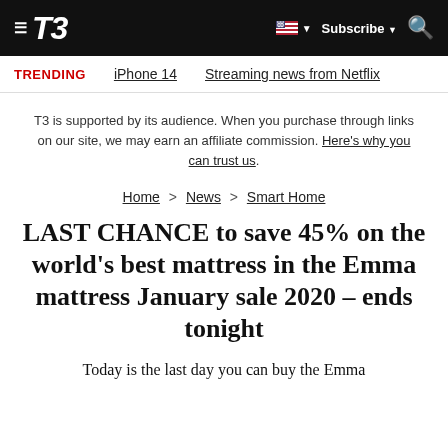T3 — Subscribe — Search
TRENDING   iPhone 14   Streaming news from Netflix
T3 is supported by its audience. When you purchase through links on our site, we may earn an affiliate commission. Here's why you can trust us.
Home > News > Smart Home
LAST CHANCE to save 45% on the world's best mattress in the Emma mattress January sale 2020 – ends tonight
Today is the last day you can buy the Emma